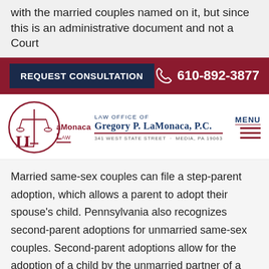with the married couples named on it, but since this is an administrative document and not a Court
[Figure (logo): Law Office of Gregory P. LaMonaca, P.C. logo with scales of justice emblem and text]
Married same-sex couples can file a step-parent adoption, which allows a parent to adopt their spouse's child. Pennsylvania also recognizes second-parent adoptions for unmarried same-sex couples. Second-parent adoptions allow for the adoption of a child by the unmarried partner of a biological parent, without terminating the parental rights of the biological parent. Both of these